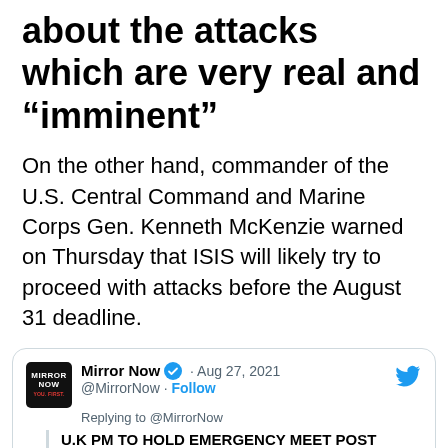about the attacks which are very real and “imminent”
On the other hand, commander of the U.S. Central Command and Marine Corps Gen. Kenneth McKenzie warned on Thursday that ISIS will likely try to proceed with attacks before the August 31 deadline.
[Figure (screenshot): Tweet from Mirror Now (@MirrorNow) dated Aug 27, 2021. Replying to @MirrorNow. Headline: U.K PM TO HOLD EMERGENCY MEET POST EXPLOSIONS. Body: #UK prime minister #BorisJohnson will hold an emergency meeting today on the issue & he]